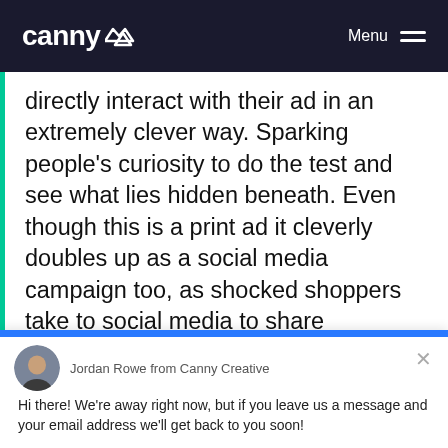canny Menu
directly interact with their ad in an extremely clever way. Sparking people's curiosity to do the test and see what lies hidden beneath. Even though this is a print ad it cleverly doubles up as a social media campaign too, as shocked shoppers take to social media to share what they have just seen — boosting publicity for the brand!
[Figure (screenshot): Chat widget overlay from Drift showing Jordan Rowe from Canny Creative with message and reply box]
Jordan Rowe from Canny Creative
Hi there! We're away right now, but if you leave us a message and your email address we'll get back to you soon!
Reply to Jordan Rowe
Chat ⚡ by Drift